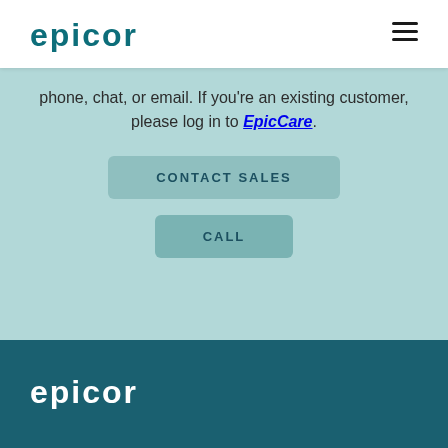[Figure (logo): Epicor logo in teal/dark teal color at top left of navigation bar]
[Figure (other): Hamburger menu icon (three horizontal lines) at top right]
phone, chat, or email. If you're an existing customer, please log in to EpicCare.
CONTACT SALES
CALL
[Figure (logo): Epicor logo in white color in dark teal footer]